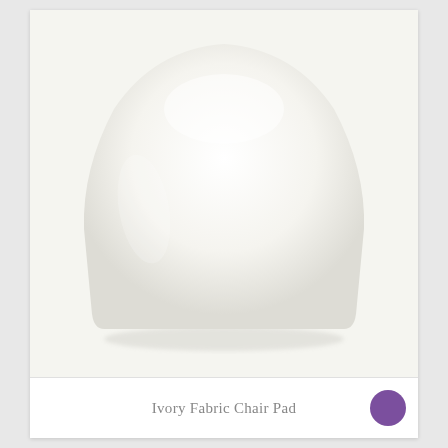[Figure (photo): A top-down or front view of an ivory/white fabric chair pad with a rounded trapezoidal shape — wider at the bottom, narrower and rounded at the top. The pad is white/cream colored with soft fabric texture against a light gray-white background.]
Ivory Fabric Chair Pad